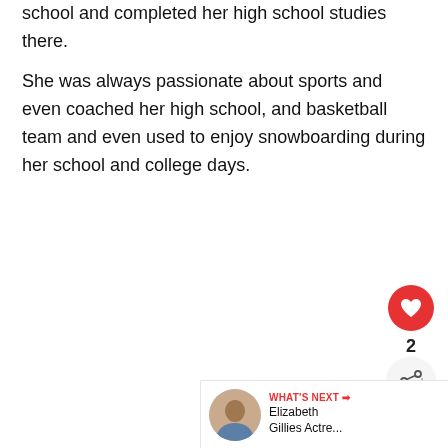school and completed her high school studies there.
She was always passionate about sports and even coached her high school, and basketball team and even used to enjoy snowboarding during her school and college days.
[Figure (other): Red heart/like button with count of 2, and a share button below it]
[Figure (other): What's Next card showing Elizabeth Gillies Actre... with a circular photo thumbnail]